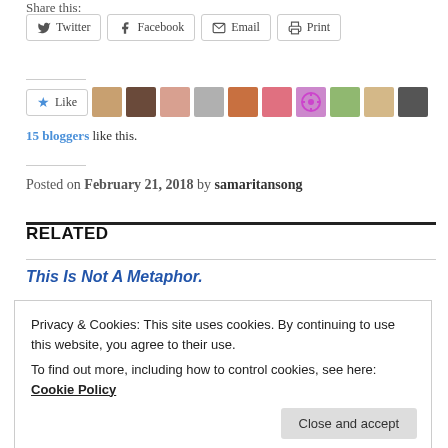Share this:
Twitter
Facebook
Email
Print
[Figure (other): Like button and 10 blogger avatar thumbnails]
15 bloggers like this.
Posted on February 21, 2018 by samaritansong
RELATED
This Is Not A Metaphor.
Privacy & Cookies: This site uses cookies. By continuing to use this website, you agree to their use.
To find out more, including how to control cookies, see here: Cookie Policy
Close and accept